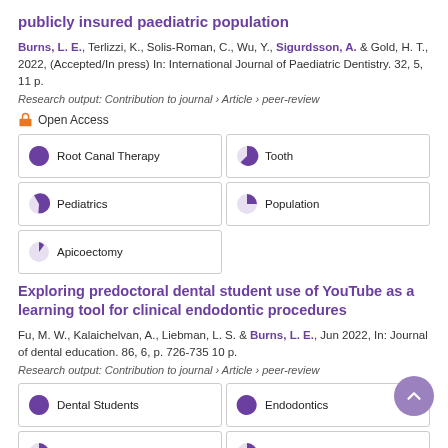publicly insured paediatric population
Burns, L. E., Terlizzi, K., Solis-Roman, C., Wu, Y., Sigurdsson, A. & Gold, H. T., 2022, (Accepted/In press) In: International Journal of Paediatric Dentistry. 32, 5, 11 p.
Research output: Contribution to journal › Article › peer-review
Open Access
Root Canal Therapy
Tooth
Pediatrics
Population
Apicoectomy
Exploring predoctoral dental student use of YouTube as a learning tool for clinical endodontic procedures
Fu, M. W., Kalaichelvan, A., Liebman, L. S. & Burns, L. E., Jun 2022, In: Journal of dental education. 86, 6, p. 726-735 10 p.
Research output: Contribution to journal › Article › peer-review
Dental Students
Endodontics
Clinical Competence
Learning